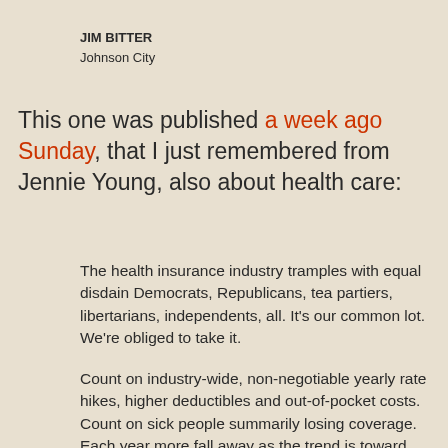JIM BITTER
Johnson City
This one was published a week ago Sunday, that I just remembered from Jennie Young, also about health care:
The health insurance industry tramples with equal disdain Democrats, Republicans, tea partiers, libertarians, independents, all. It's our common lot. We're obliged to take it.
Count on industry-wide, non-negotiable yearly rate hikes, higher deductibles and out-of-pocket costs. Count on sick people summarily losing coverage. Each year more fall away as the trend is toward younger, healthier clients. Wage increases disappear in premium increases.
Employers with employee interests at heart have no more bargaining power than individuals